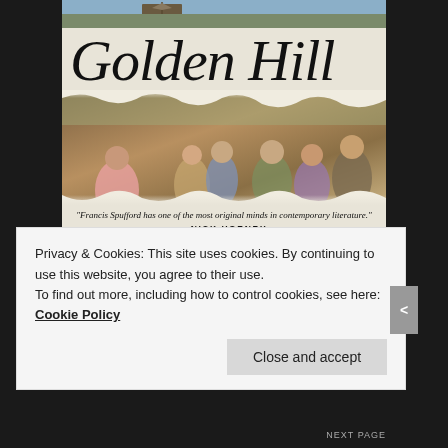[Figure (illustration): Book cover of 'Golden Hill' by Francis Spufford. Shows the title in large italic serif font at top, a classical painting of a crowd of 18th-century figures in the middle, a blurb by Nick Hornby, the author's name in large italic serif font, and an old map of New York at the bottom.]
Privacy & Cookies: This site uses cookies. By continuing to use this website, you agree to their use.
To find out more, including how to control cookies, see here: Cookie Policy
Close and accept